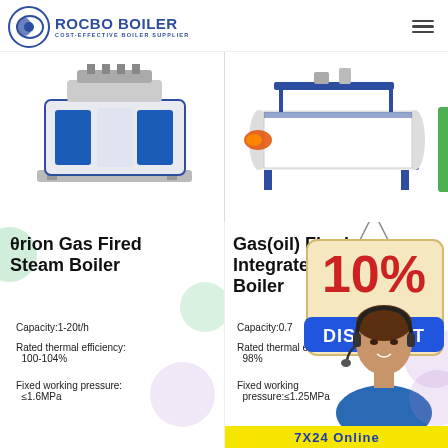[Figure (logo): Rocbo Boiler logo with crescent/globe icon and text 'ROCBO BOILER - COST-EFFECTIVE BOILER SUPPLIER']
[Figure (photo): Blue and white industrial gas fired steam boiler on the left product panel]
[Figure (photo): White horizontal cylindrical gas/oil fired integrated boiler on the right product panel]
θrion Gas Fired Steam Boiler
Capacity:1-20t/h
Rated thermal efficiency: 100-104%
Fixed working pressure: ≤1.6MPa
Gas(oil) Fired Integrated Boiler
Capacity:0.7
Rated thermal efficiency: 98%
Fixed working pressure:≤1.25MPa
[Figure (infographic): 10% DISCOUNT promotional badge overlay on right product info panel]
[Figure (photo): Customer service agent (woman with headset) overlay on bottom right]
7X24 Online